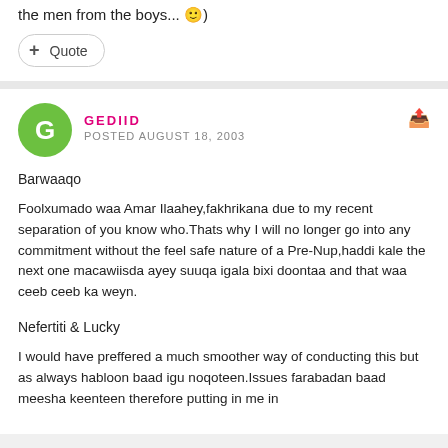the men from the boys... ;)
+ Quote
GEDIID
POSTED AUGUST 18, 2003
Barwaaqo
Foolxumado waa Amar Ilaahey,fakhrikana due to my recent separation of you know who.Thats why I will no longer go into any commitment without the feel safe nature of a Pre-Nup,haddi kale the next one macawiisda ayey suuqa igala bixi doontaa and that waa ceeb ceeb ka weyn.
Nefertiti & Lucky
I would have preffered a much smoother way of conducting this but as always habloon baad igu noqoteen.Issues farabadan baad meesha keenteen therefore putting in me in